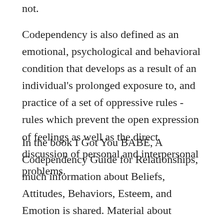not.
Codependency is also defined as an emotional, psychological and behavioral condition that develops as a result of an individual's prolonged exposure to, and practice of a set of oppressive rules - rules which prevent the open expression of feelings as well as the direct discussion of personal and interpersonal problems.
In the book I Got You BABE, A Codependency Guide for Relationships, much information about Beliefs, Attitudes, Behaviors, Esteem, and Emotion is shared. Material about codependency and related illnesses has been collected over the years of reading about this illness, attending codependency classes, and working a